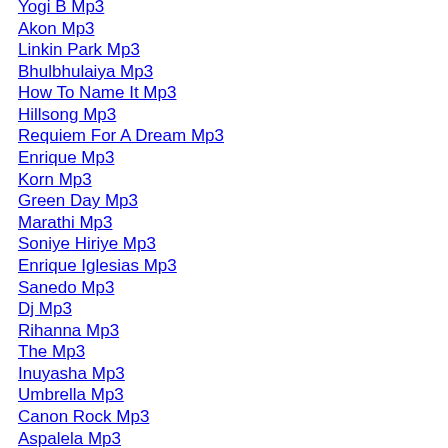Yogi B Mp3
Akon Mp3
Linkin Park Mp3
Bhulbhulaiya Mp3
How To Name It Mp3
Hillsong Mp3
Requiem For A Dream Mp3
Enrique Mp3
Korn Mp3
Green Day Mp3
Marathi Mp3
Soniye Hiriye Mp3
Enrique Iglesias Mp3
Sanedo Mp3
Dj Mp3
Rihanna Mp3
The Mp3
Inuyasha Mp3
Umbrella Mp3
Canon Rock Mp3
Aspalela Mp3
Sami Yusuf Mp3
Durga Chalisa Mp3
Om Shanti Om Mp3
Brandy Should I Go Mp3
Hindi Mp3